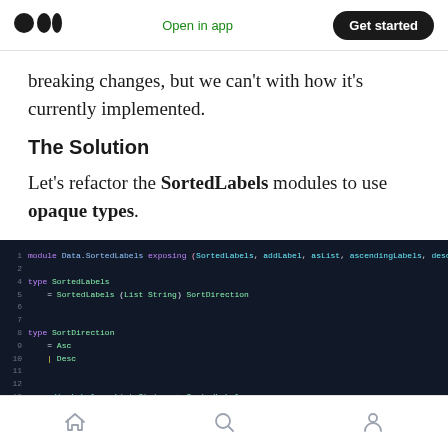Medium app header with logo, Open in app, Get started
breaking changes, but we can't with how it's currently implemented.
The Solution
Let's refactor the SortedLabels modules to use opaque types.
[Figure (screenshot): Dark-themed code editor screenshot showing Elm code for Data.SortedLabels module with type definitions for SortedLabels and SortDirection, and ascendingLabels function signature]
Bottom navigation bar with home, search, and profile icons